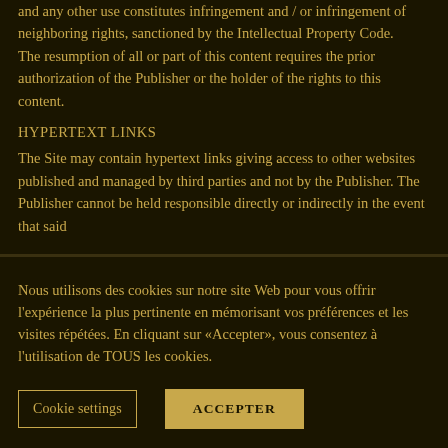and any other use constitutes infringement and / or infringement of neighboring rights, sanctioned by the Intellectual Property Code.
The resumption of all or part of this content requires the prior authorization of the Publisher or the holder of the rights to this content.
HYPERTEXT LINKS
The Site may contain hypertext links giving access to other websites published and managed by third parties and not by the Publisher. The Publisher cannot be held responsible directly or indirectly in the event that said
Nous utilisons des cookies sur notre site Web pour vous offrir l'expérience la plus pertinente en mémorisant vos préférences et les visites répétées. En cliquant sur «Accepter», vous consentez à l'utilisation de TOUS les cookies.
Cookie settings
ACCEPTER